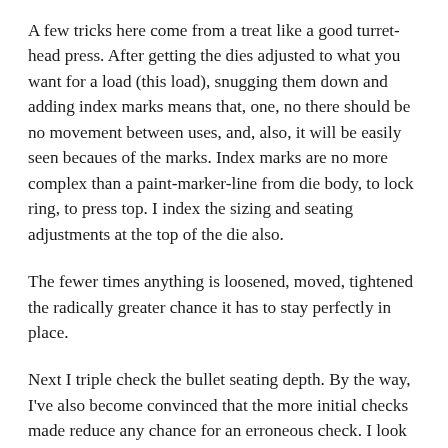A few tricks here come from a treat like a good turret-head press. After getting the dies adjusted to what you want for a load (this load), snugging them down and adding index marks means that, one, no there should be no movement between uses, and, also, it will be easily seen becaues of the marks. Index marks are no more complex than a paint-marker-line from die body, to lock ring, to press top. I index the sizing and seating adjustments at the top of the die also.
The fewer times anything is loosened, moved, tightened the radically greater chance it has to stay perfectly in place.
Next I triple check the bullet seating depth. By the way, I've also become convinced that the more initial checks made reduce any chance for an erroneous check. I look once, then again, and then again, and by then I sho should have seen all there is to see. I might overlook something, though, if I look only once, and I have done that before setting seating depths.